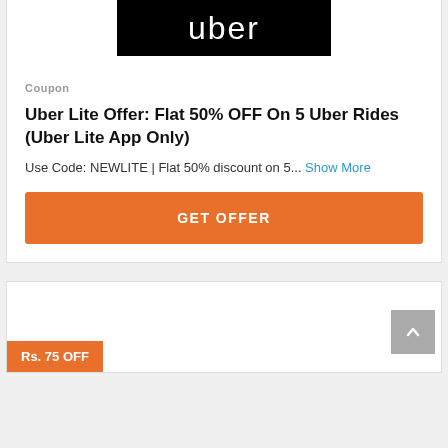[Figure (logo): Uber logo — white text 'uber' on black background]
Coupon
Uber Lite Offer: Flat 50% OFF On 5 Uber Rides (Uber Lite App Only)
Use Code: NEWLITE | Flat 50% discount on 5... Show More
GET OFFER
Rs. 75 OFF